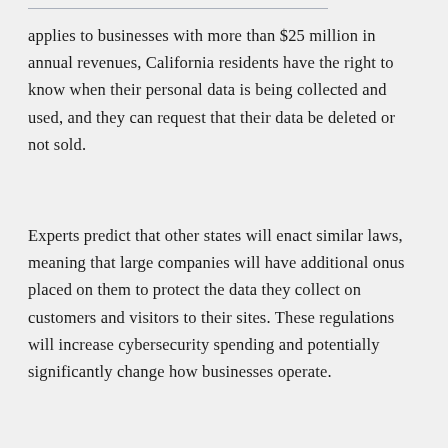applies to businesses with more than $25 million in annual revenues, California residents have the right to know when their personal data is being collected and used, and they can request that their data be deleted or not sold.
Experts predict that other states will enact similar laws, meaning that large companies will have additional onus placed on them to protect the data they collect on customers and visitors to their sites. These regulations will increase cybersecurity spending and potentially significantly change how businesses operate.